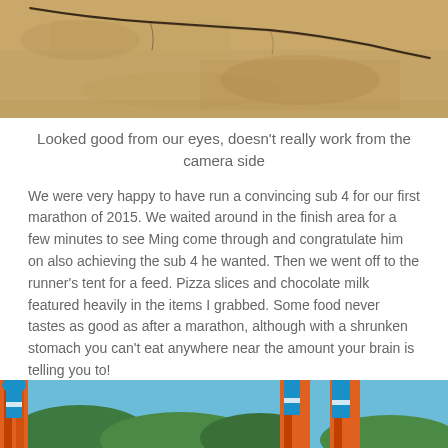[Figure (photo): Close-up photo of sandy/concrete ground surface with a diagonal crack running across it, taken from above.]
Looked good from our eyes, doesn't really work from the camera side
We were very happy to have run a convincing sub 4 for our first marathon of 2015. We waited around in the finish area for a few minutes to see Ming come through and congratulate him on also achieving the sub 4 he wanted. Then we went off to the runner's tent for a feed. Pizza slices and chocolate milk featured heavily in the items I grabbed. Some food never tastes as good as after a marathon, although with a shrunken stomach you can't eat anywhere near the amount your brain is telling you to!
[Figure (photo): Partial bottom of page showing two cropped photos of colorful decorative structures with orange, red, blue and teal colors against a background of green trees and blue sky.]